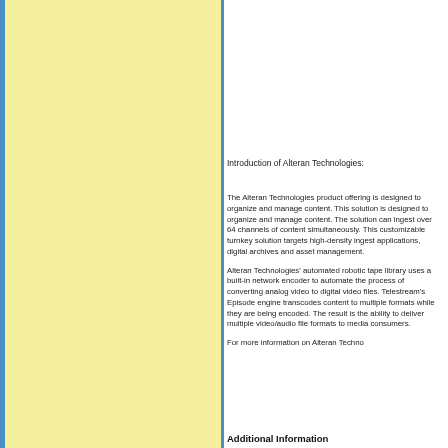[Figure (other): Yellow/cream colored left panel with blue left and right borders, occupying the left half of the page]
Introduction of Alteran Technologies:
The Alteran Technologies product offering is designed to organize and manage content. This solution is designed to organize and manage content. The solution can ingest over 64 channels of content simultaneously. This customizable turnkey solution targets high-density ingest applications, digital archives and asset management.
Alteran Technologies' automated robotic tape library uses a built-in high-speed network encoder to automate the process of converting analog video and audio to digital video files. Telestream's Episode engine transcodes content to multiple formats while they are being encoded. The result is the ability to deliver multiple video/audio file formats to media consumers.
For more information on Alteran Techno
Additional Information